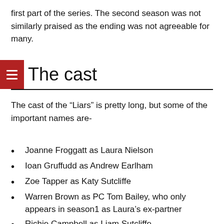first part of the series. The second season was not similarly praised as the ending was not agreeable for many.
The cast
The cast of the “Liars” is pretty long, but some of the important names are-
Joanne Froggatt as Laura Nielson
Ioan Gruffudd as Andrew Earlham
Zoe Tapper as Katy Sutcliffe
Warren Brown as PC Tom Bailey, who only appears in season1 as Laura’s ex-partner
Richie Campbell as Liam Sutcliffe
Jamie Flatters as Luke Earlham